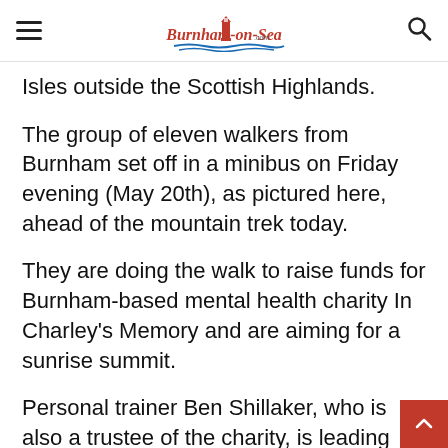Burnham-on-Sea.com
Isles outside the Scottish Highlands.
The group of eleven walkers from Burnham set off in a minibus on Friday evening (May 20th), as pictured here, ahead of the mountain trek today.
They are doing the walk to raise funds for Burnham-based mental health charity In Charley's Memory and are aiming for a sunrise summit.
Personal trainer Ben Shillaker, who is also a trustee of the charity, is leading the group and